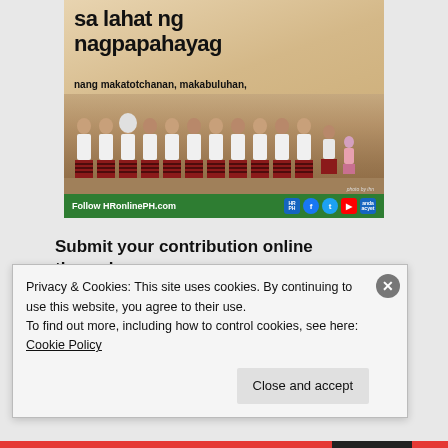[Figure (photo): Promotional image showing Filipino women in traditional red striped skirts and white t-shirts, with text overlay in Filipino reading 'sa lahat ng nagpapahayag nang makatotchanan, makabuluhan, at may pagmamalasakit sa kalikasan at sa kapwa!' and a green bar at bottom reading 'Follow HRonlinePH.com' with social media icons]
Submit your contribution online through
HRonlinePH.com/i
Privacy & Cookies: This site uses cookies. By continuing to use this website, you agree to their use.
To find out more, including how to control cookies, see here: Cookie Policy
Close and accept